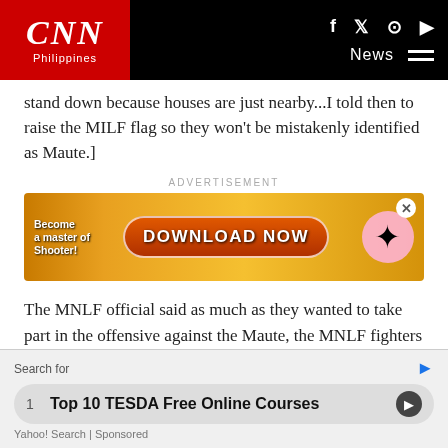CNN Philippines
stand down because houses are just nearby...I told then to raise the MILF flag so they won't be mistakenly identified as Maute.]
[Figure (screenshot): Advertisement banner with 'DOWNLOAD NOW' button on orange/yellow background, with text 'Become a master of Shooter!' and decorative elements]
The MNLF official said as much as they wanted to take part in the offensive against the Maute, the MNLF fighters are avoiding getting caught in the crossfire.
"Galit sila talaga diyan sa Maute, yung mga MNLF natin doon... may mga friction na 'yan eh, kaya hindi na kami pwede mag-
[Figure (screenshot): Bottom overlay ad: Search for Top 10 TESDA Free Online Courses, Yahoo! Search Sponsored]